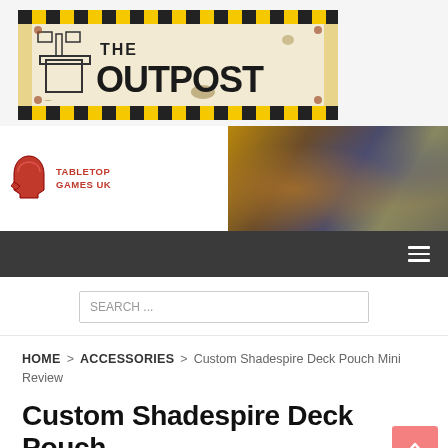[Figure (logo): The Outpost logo — yellow and black hazard-stripe border with distressed text reading THE OUTPOST, with a watchtower icon on the left]
[Figure (photo): Tabletop Games UK banner — red helmet/warrior logo on left with text TABLETOP GAMES UK, and a composite photo of painted miniature wargaming figures on the right]
[Figure (screenshot): Dark grey navigation bar with hamburger menu icon (three horizontal lines) on the right]
SEARCH ...
HOME > ACCESSORIES > Custom Shadespire Deck Pouch Mini Review
Custom Shadespire Deck Pouch Mini Review